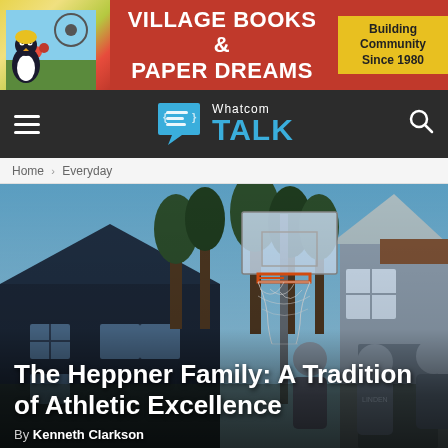[Figure (other): Advertisement banner for Village Books & Paper Dreams with penguin logo and tagline 'Building Community Since 1980']
Whatcom TALK — navigation bar with hamburger menu and search icon
Home › Everyday
[Figure (photo): Three people standing in front of a basketball hoop in a residential backyard with trees in the background]
The Heppner Family: A Tradition of Athletic Excellence
By Kenneth Clarkson